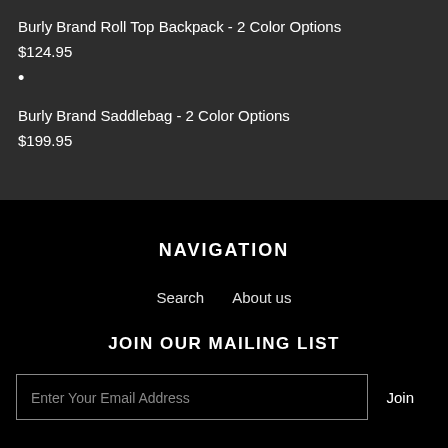Burly Brand Roll Top Backpack - 2 Color Options
$124.95
•
Burly Brand Saddlebag - 2 Color Options
$199.95
NAVIGATION
Search   About us
JOIN OUR MAILING LIST
Enter Your Email Address